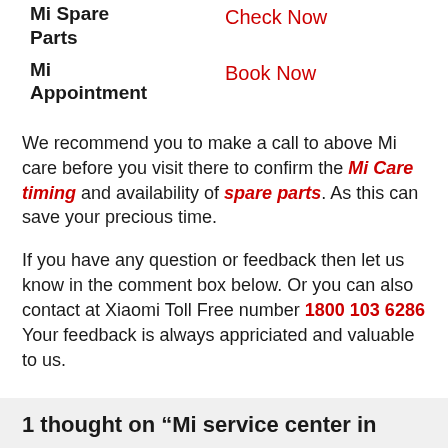Mi Spare Parts — Check Now
Mi Appointment — Book Now
We recommend you to make a call to above Mi care before you visit there to confirm the Mi Care timing and availability of spare parts. As this can save your precious time.
If you have any question or feedback then let us know in the comment box below. Or you can also contact at Xiaomi Toll Free number 1800 103 6286 Your feedback is always appriciated and valuable to us.
1 thought on “Mi service center in